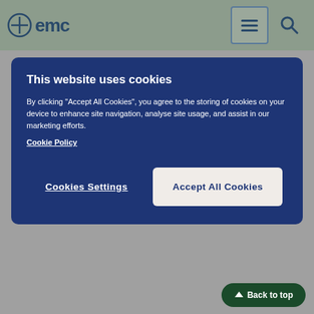[Figure (screenshot): EMC website navigation bar with logo, hamburger menu icon, and search icon]
[Figure (screenshot): Cookie consent modal overlay with dark blue background. Title: 'This website uses cookies'. Body text about accepting cookies for site navigation and marketing. Cookie Policy link. Two buttons: 'Cookies Settings' and 'Accept All Cookies'.]
followed by bleeding due to tearing of the gullet (Mallory-Weiss syndrome) after swallowing solutions containing macrogol.
Reporting of side effects
If you get any side effects, talk to your doctor or pharmacist. This includes any possible side effects not listed in this leaflet. You can also report side effects directly via www.mhra.gov.uk/yellowcard. By reporting side effects you can help provide more information on the safety of this medicine.
5. How to store VistaPrep